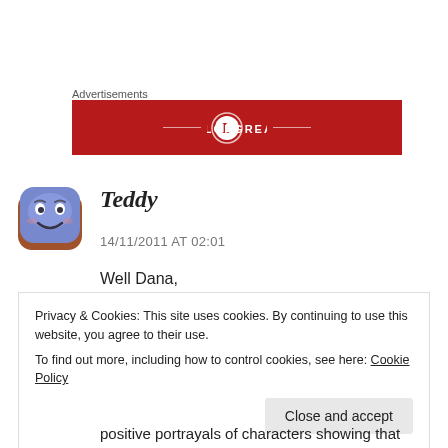Advertisements
[Figure (logo): Longreads advertisement banner with red background, circular L logo and LONGREADS text in white with decorative horizontal lines]
[Figure (photo): Cartoon avatar icon of a smiling blue face with rounded square shape]
Teddy
14/11/2011 AT 02:01
Well Dana,
Privacy & Cookies: This site uses cookies. By continuing to use this website, you agree to their use.
To find out more, including how to control cookies, see here: Cookie Policy
positive portrayals of characters showing that